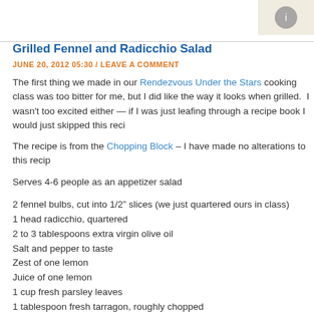Grilled Fennel and Radicchio Salad
JUNE 20, 2012 05:30 / LEAVE A COMMENT
The first thing we made in our Rendezvous Under the Stars cooking class was too bitter for me, but I did like the way it looks when grilled.  I wasn't too excited either — if I was just leafing through a recipe book I would just skipped this reci...
The recipe is from the Chopping Block – I have made no alterations to this recip...
Serves 4-6 people as an appetizer salad
2 fennel bulbs, cut into 1/2″ slices (we just quartered ours in class)
1 head radicchio, quartered
2 to 3 tablespoons extra virgin olive oil
Salt and pepper to taste
Zest of one lemon
Juice of one lemon
1 cup fresh parsley leaves
1 tablespoon fresh tarragon, roughly chopped
2 oranges, cut into segments
1/4 cup sliced almonds, toasted
One 15-ounce can cannellini beans, drained and rinsed